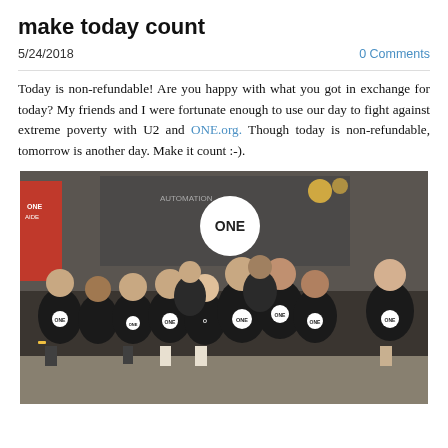make today count
5/24/2018
0 Comments
Today is non-refundable! Are you happy with what you got in exchange for today? My friends and I were fortunate enough to use our day to fight against extreme poverty with U2 and ONE.org. Though today is non-refundable, tomorrow is another day. Make it count :-).
[Figure (photo): Group of people wearing black ONE.org t-shirts posing together indoors at what appears to be a venue, with ONE.org branding visible in the background.]